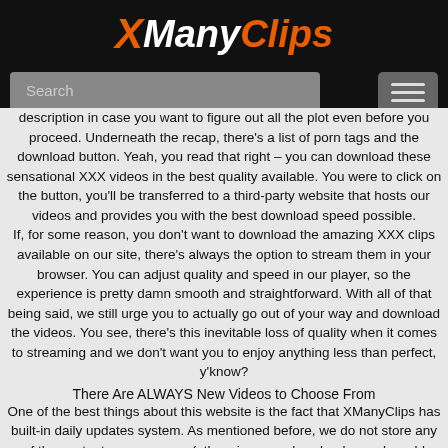[Figure (logo): XManyClips logo with orange X, white Many, orange Clips in italic bold font on dark background]
Search
description in case you want to figure out all the plot even before you proceed. Underneath the recap, there's a list of porn tags and the download button. Yeah, you read that right – you can download these sensational XXX videos in the best quality available. You were to click on the button, you'll be transferred to a third-party website that hosts our videos and provides you with the best download speed possible.
If, for some reason, you don't want to download the amazing XXX clips available on our site, there's always the option to stream them in your browser. You can adjust quality and speed in our player, so the experience is pretty damn smooth and straightforward. With all of that being said, we still urge you to actually go out of your way and download the videos. You see, there's this inevitable loss of quality when it comes to streaming and we don't want you to enjoy anything less than perfect, y'know?
There Are ALWAYS New Videos to Choose From
One of the best things about this website is the fact that XManyClips has built-in daily updates system. As mentioned before, we do not store any of the content on our server (otherwise your download speed would suffer and we don't want that to happen), so we have to cherry-pick the videos that we share with you. Basically, we spend god knows how many hours every day in search of THE